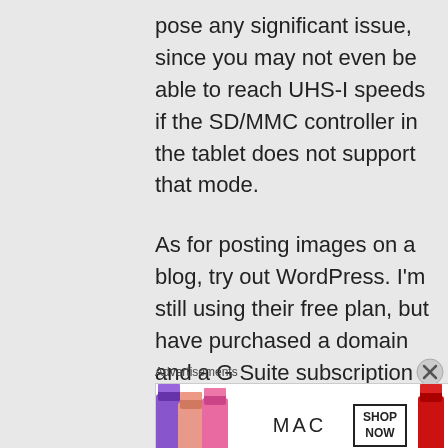pose any significant issue, since you may not even be able to reach UHS-I speeds if the SD/MMC controller in the tablet does not support that mode.
As for posting images on a blog, try out WordPress. I'm still using their free plan, but have purchased a domain and a G Suite subscription for a custom email address.
Advertisements
[Figure (illustration): MAC Cosmetics advertisement showing colorful lipsticks on the left, MAC logo in the center, SHOP NOW box, and a red lipstick on the right.]